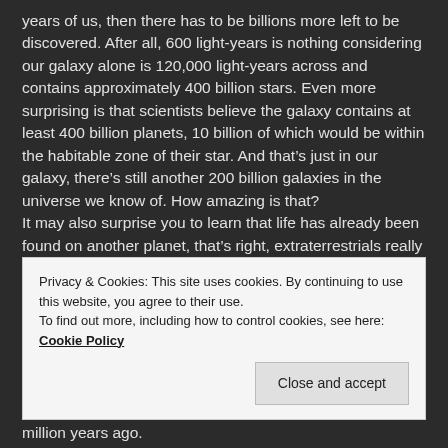years of us, then there has to be billions more left to be discovered. After all, 600 light-years is nothing considering our galaxy alone is 120,000 light-years across and contains approximately 400 billion stars. Even more surprising is that scientists believe the galaxy contains at least 400 billion planets, 10 billion of which would be within the habitable zone of their star. And that's just in our galaxy, there's still another 200 billion galaxies in the universe we know of. How amazing is that? It may also surprise you to learn that life has already been found on another planet, that's right, extraterrestrials really do exists! Albeit very small. On a meteorite found in Antarctica, known simply as ALH84001, which was
Privacy & Cookies: This site uses cookies. By continuing to use this website, you agree to their use.
To find out more, including how to control cookies, see here: Cookie Policy
million years ago.